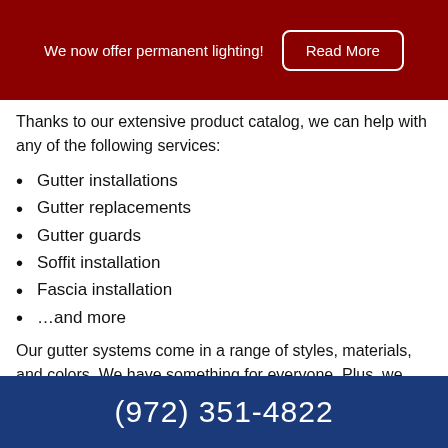We now offer permanent lighting! Read More
Thanks to our extensive product catalog, we can help with any of the following services:
Gutter installations
Gutter replacements
Gutter guards
Soffit installation
Fascia installation
…and more
Our gutter systems come in a range of styles, materials, and colors. We have something for everyone. Plus, we can install our gutters with a matching set of soffits and fascias, making sure all components complement the rest of your exterior. To
(972) 351-4822